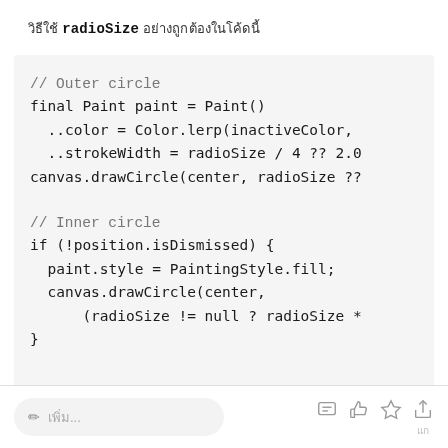วิธีใช้ radioSize อย่างถูกต้องในโค้ดนี้
// Outer circle
final Paint paint = Paint()
  ..color = Color.lerp(inactiveColor,
  ..strokeWidth = radioSize / 4 ?? 2.0
canvas.drawCircle(center, radioSize ??

// Inner circle
if (!position.isDismissed) {
  paint.style = PaintingStyle.fill;
  canvas.drawCircle(center,
      (radioSize != null ? radioSize *
}
✏ เพิ่ม...